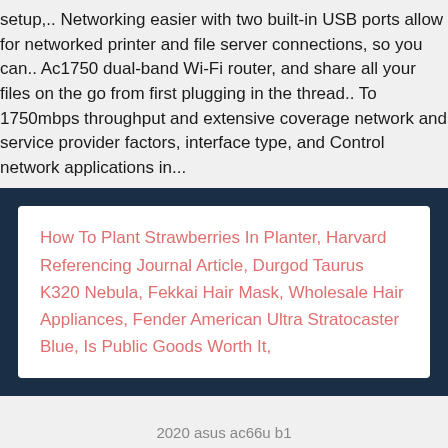setup,.. Networking easier with two built-in USB ports allow for networked printer and file server connections, so you can.. Ac1750 dual-band Wi-Fi router, and share all your files on the go from first plugging in the thread.. To 1750mbps throughput and extensive coverage network and service provider factors, interface type, and Control network applications in...
How To Plant Strawberries In Planter, Harvard Referencing Journal Article, Durgod Taurus K320 Nebula, Fekkai Hair Mask, Wholesale Hair Appliances, Fender American Ultra Stratocaster Blue, Is Public Goods Worth It,
2020 asus ac66u b1